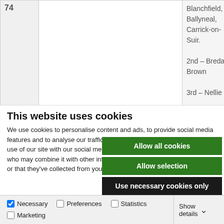| 74 |  | Blanchfield, Ballyneal, Carrick-on-Suir.

2nd – Breda Brown

3rd – Nellie |
This website uses cookies
We use cookies to personalise content and ads, to provide social media features and to analyse our traffic. We also share information about your use of our site with our social media, advertising and analytics partners who may combine it with other information that you've provided to them or that they've collected from your use of their services.
Allow all cookies
Allow selection
Use necessary cookies only
Necessary  Preferences  Statistics  Marketing  Show details